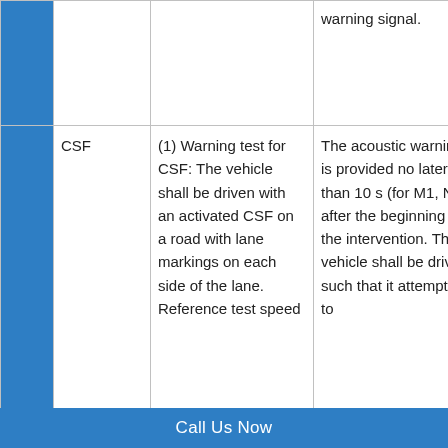|  |  |  | warning signal. |  |
| --- | --- | --- | --- | --- |
|  | CSF | (1) Warning test for CSF: The vehicle shall be driven with an activated CSF on a road with lane markings on each side of the lane. Reference test speed | The acoustic warning is provided no later than 10 s (for M1, N1) after the beginning of the intervention. The vehicle shall be driven such that it attempts to | LKA |
Call Us Now